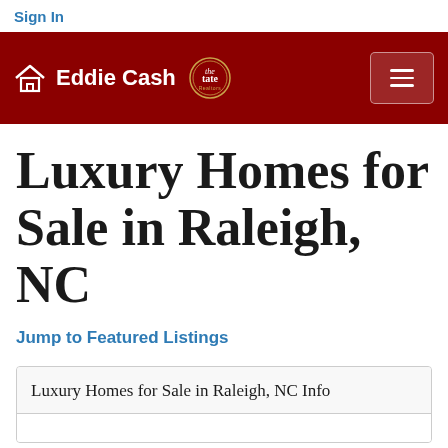Sign In
[Figure (logo): Eddie Cash real estate agent logo with house icon and Tate Realtors badge, dark red header with hamburger menu]
Luxury Homes for Sale in Raleigh, NC
Jump to Featured Listings
Luxury Homes for Sale in Raleigh, NC Info